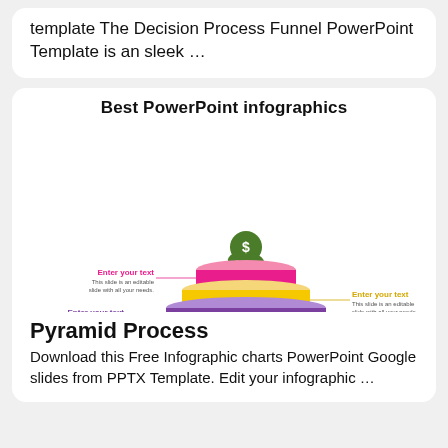template The Decision Process Funnel PowerPoint Template is an sleek …
Best PowerPoint infographics
[Figure (infographic): Pyramid/funnel infographic with 4 stacked layers (pink, yellow, purple, teal) topped with a green dollar-sign flower. Each layer has callout labels: 'Enter your text' with subtext 'This slide is an editable slide with all your needs.']
Pyramid Process
Download this Free Infographic charts PowerPoint Google slides from PPTX Template. Edit your infographic …